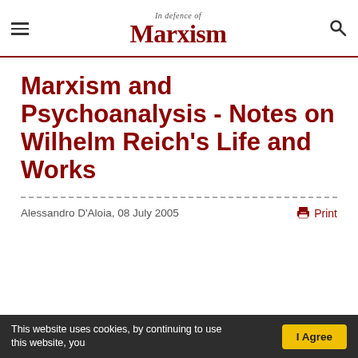In Defence of Marxism
Marxism and Psychoanalysis - Notes on Wilhelm Reich's Life and Works
Alessandro D'Aloia, 08 July 2005
Print
This website uses cookies, by continuing to use this website, you